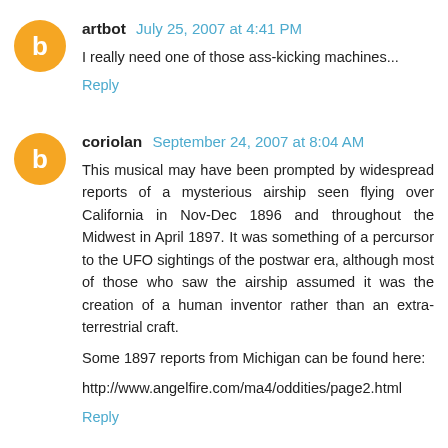artbot July 25, 2007 at 4:41 PM
I really need one of those ass-kicking machines...
Reply
coriolan September 24, 2007 at 8:04 AM
This musical may have been prompted by widespread reports of a mysterious airship seen flying over California in Nov-Dec 1896 and throughout the Midwest in April 1897. It was something of a percursor to the UFO sightings of the postwar era, although most of those who saw the airship assumed it was the creation of a human inventor rather than an extra-terrestrial craft.

Some 1897 reports from Michigan can be found here:

http://www.angelfire.com/ma4/oddities/page2.html
Reply
To leave a comment, click the button below to sign in with